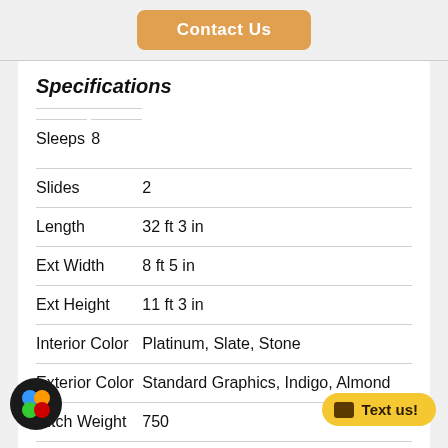Contact Us
Specifications
| Specification | Value |
| --- | --- |
| Sleeps | 8 |
| Slides | 2 |
| Length | 32 ft 3 in |
| Ext Width | 8 ft 5 in |
| Ext Height | 11 ft 3 in |
| Interior Color | Platinum, Slate, Stone |
| Exterior Color | Standard Graphics, Indigo, Almond |
| Hitch Weight | 750 |
| Gross Weight | 145 |
| Dry Weight | 10000 lb |